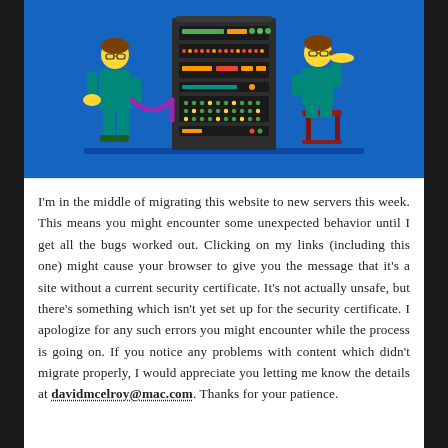[Figure (illustration): Colorful flat illustration on a bright blue background showing two IT technicians working on a large server rack. Left technician (brown hair, green shirt, teal pants) holds a cable and plugs it in; a purple cable connects to the server. Right technician (brown hair, glasses, green top, teal pants) stands on a red stool and interacts with the top of the tall dark server rack which has colorful indicator lights and drives. The floor/base of the server is dark.]
I'm in the middle of migrating this website to new servers this week. This means you might encounter some unexpected behavior until I get all the bugs worked out. Clicking on my links (including this one) might cause your browser to give you the message that it's a site without a current security certificate. It's not actually unsafe, but there's something which isn't yet set up for the security certificate. I apologize for any such errors you might encounter while the process is going on. If you notice any problems with content which didn't migrate properly, I would appreciate you letting me know the details at davidmcelroy@mac.com. Thanks for your patience.